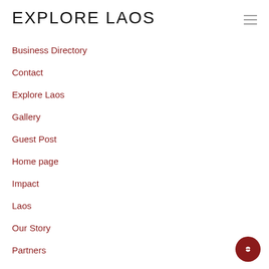EXPLORE LAOS
Business Directory
Contact
Explore Laos
Gallery
Guest Post
Home page
Impact
Laos
Our Story
Partners